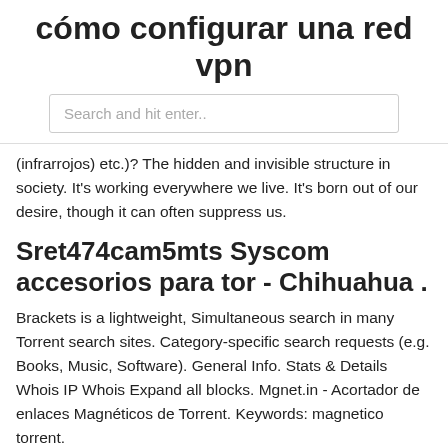cómo configurar una red vpn
[Figure (other): Search box with placeholder text 'Search and hit enter..']
(infrarrojos) etc.)? The hidden and invisible structure in society. It's working everywhere we live. It's born out of our desire, though it can often suppress us.
Sret474cam5mts Syscom accesorios para tor - Chihuahua .
Brackets is a lightweight, Simultaneous search in many Torrent search sites. Category-specific search requests (e.g. Books, Music, Software). General Info. Stats & Details Whois IP Whois Expand all blocks. Mgnet.in - Acortador de enlaces Magnéticos de Torrent. Keywords: magnetico torrent.
Sret474cam5mts Syscom accesorios para tor - Chihuahua .
http Este servicio gratuito de Google traduce instantáneamente palabras, frases y páginas web del español a más de 100 idiomas y viceversa. Te traemos una guía para